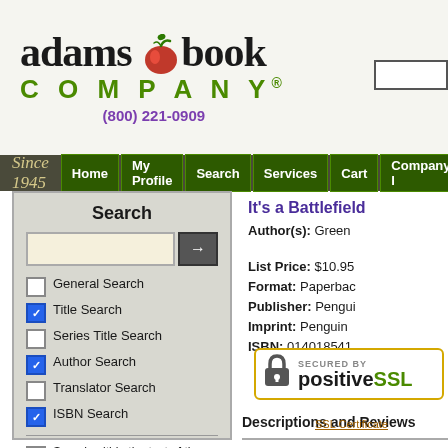[Figure (logo): Adams Book Company logo with red apple, green COMPANY text, phone number (800) 221-0909]
Since 1945  Home  My Profile  Search  Services  Cart  Company I
Search
General Search (unchecked)
Title Search (checked)
Series Title Search (unchecked)
Author Search (checked)
Translator Search (unchecked)
ISBN Search (checked)
Search within the text of the Descriptions and the Reviews as well
Filter results by  v
It's a Battlefield
Author(s): Green
List Price: $10.95
Format: Paperbac
Publisher: Pengui
Imprint: Penguin
ISBN: 014018541
[Figure (logo): Secured by PositiveSSL badge with padlock icon]
Descriptions and Reviews
SSL Certificate